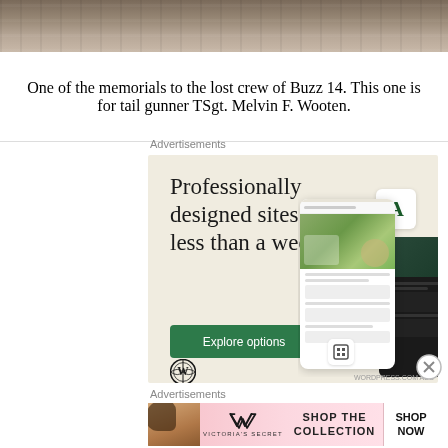[Figure (photo): Top portion of a photograph showing rocky/stone landscape, cropped at the top of the page]
One of the memorials to the lost crew of Buzz 14. This one is for tail gunner TSgt. Melvin F. Wooten.
Advertisements
[Figure (screenshot): WordPress.com advertisement: 'Professionally designed sites in less than a week' with Explore options button, WordPress logo, and website mockup screenshots on beige background]
Advertisements
[Figure (photo): Victoria's Secret advertisement showing a woman's face, VS logo, 'SHOP THE COLLECTION' text, and 'SHOP NOW' button on pink background]